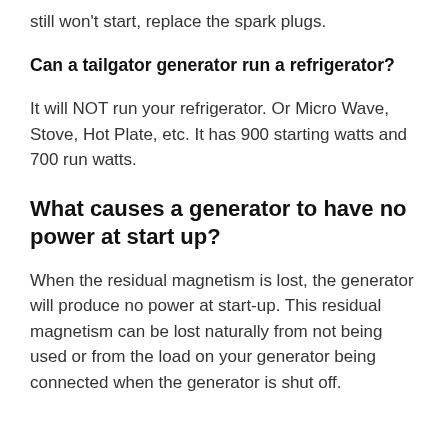still won't start, replace the spark plugs.
Can a tailgator generator run a refrigerator?
It will NOT run your refrigerator. Or Micro Wave, Stove, Hot Plate, etc. It has 900 starting watts and 700 run watts.
What causes a generator to have no power at start up?
When the residual magnetism is lost, the generator will produce no power at start-up. This residual magnetism can be lost naturally from not being used or from the load on your generator being connected when the generator is shut off.